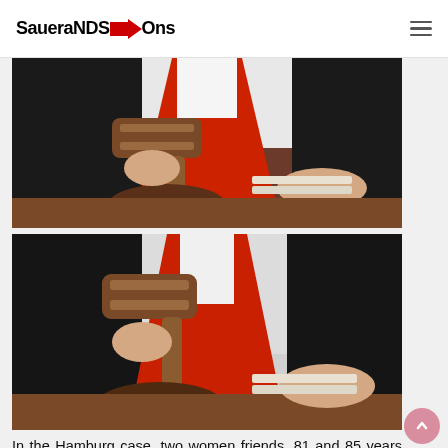SaueraNDS→Ons
[Figure (photo): Judge in black robe with red sash holding a wooden gavel, striking a sound block on a wooden desk, upper body cropped]
[Figure (photo): Judge in black robe with red sash holding a wooden gavel raised, same scene as above but slightly different angle, upper body visible]
In the Hamburg case, two women friends, 81 and 85 years old, suffered from several illnesses. These were not life-